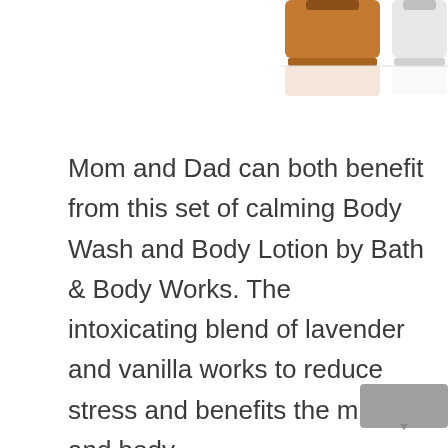[Figure (photo): Top portion of two product bottles (one amber/brown, one white/clear) from Bath & Body Works, cropped at the top of the page with reflections visible below.]
Mom and Dad can both benefit from this set of calming Body Wash and Body Lotion by Bath & Body Works. The intoxicating blend of lavender and vanilla works to reduce stress and benefits the mind and body.
[Figure (photo): Bottom-right corner shows a partial gray rectangle, likely a partially visible UI element or navigation button.]